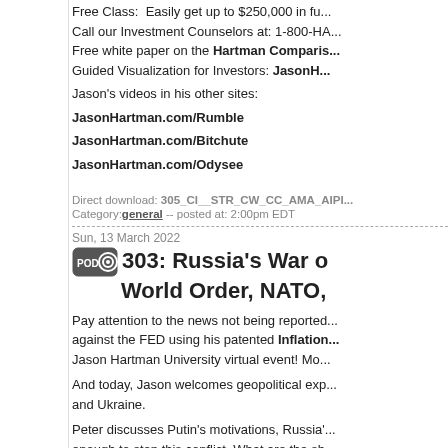Free Class: Easily get up to $250,000 in fu...
Call our Investment Counselors at: 1-800-H...
Free white paper on the Hartman Comparis...
Guided Visualization for Investors: JasonH...
Jason's videos in his other sites:
JasonHartman.com/Rumble
JasonHartman.com/Bitchute
JasonHartman.com/Odysee
Direct download: 305_CI__STR_CW_CC_AMA_AIPI... Category: general -- posted at: 2:00pm EDT
Sun, 13 March 2022
303: Russia's War on World Order, NATO,...
Pay attention to the news not being reported... against the FED using his patented Inflation... Jason Hartman University virtual event! Mo...
And today, Jason welcomes geopolitical exp... and Ukraine.
Peter discusses Putin's motivations, Russia'... enough to stop this conflict. What are the sh... invasion? Peter and Jason discuss Russia's...
All royalties from Peter's book sales betwe...